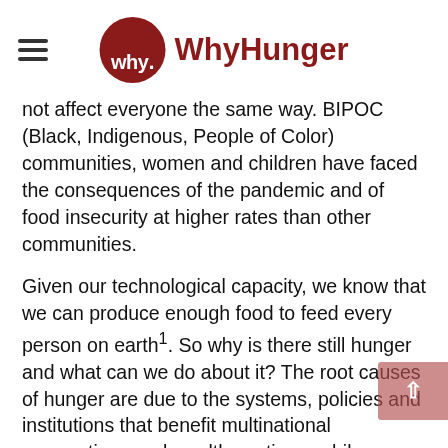[Figure (logo): WhyHunger logo: dark red circle with 'why.' text in white, followed by 'WhyHunger' in dark red bold text. Hamburger menu icon on left.]
not affect everyone the same way. BIPOC (Black, Indigenous, People of Color) communities, women and children have faced the consequences of the pandemic and of food insecurity at higher rates than other communities.
Given our technological capacity, we know that we can produce enough food to feed every person on earth¹. So why is there still hunger and what can we do about it? The root causes of hunger are due to the systems, policies and institutions that benefit multinational corporations and wealthy nations, while leaving millions of people without access to food, land, water and sustainable livelihoods. Our global food system is structured to value profits over people and the planet.